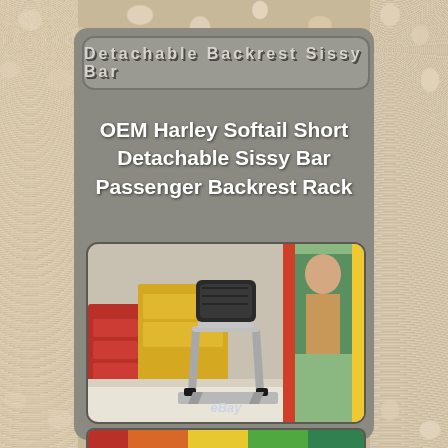Detachable Backrest Sissy Bar
OEM Harley Softail Short Detachable Sissy Bar Passenger Backrest Rack
[Figure (photo): Photo of OEM Harley Softail Short Detachable Sissy Bar Passenger Backrest Rack, showing chrome sissy bar with black padded backrest mounted, eBay watermark visible]
[Figure (photo): Partial second photo of the same or related product, colorful background visible at bottom of page]